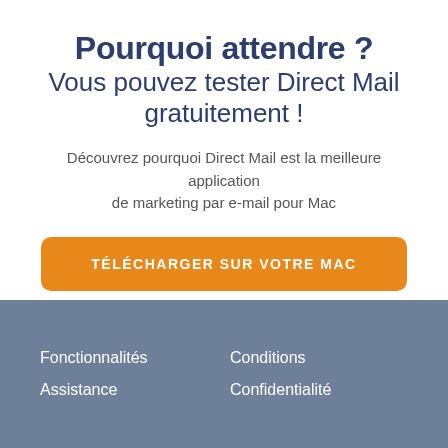Pourquoi attendre ? Vous pouvez tester Direct Mail gratuitement !
Découvrez pourquoi Direct Mail est la meilleure application de marketing par e-mail pour Mac
TÉLÉCHARGER SUR VOTRE MAC
Fonctionnalités
Assistance
Conditions
Confidentialité